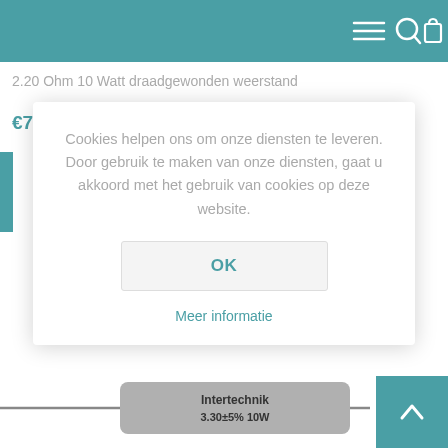[Figure (screenshot): Mobile e-commerce website header navigation bar with teal background showing hamburger menu, search, shopping bag, and more icons]
2.20 Ohm 10 Watt draadgewonden weerstand
€73,98 incl. BTW exclusief verzendkosten
Cookies helpen ons om onze diensten te leveren. Door gebruik te maken van onze diensten, gaat u akkoord met het gebruik van cookies op deze website.
OK
Meer informatie
[Figure (photo): Intertechnik 3.30±5% 10W wire-wound resistor component photo at bottom of page]